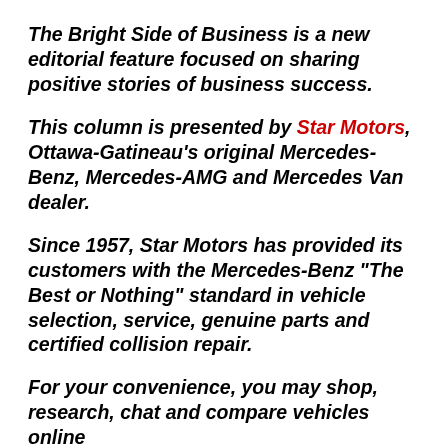The Bright Side of Business is a new editorial feature focused on sharing positive stories of business success.
This column is presented by Star Motors, Ottawa-Gatineau's original Mercedes-Benz, Mercedes-AMG and Mercedes Van dealer.
Since 1957, Star Motors has provided its customers with the Mercedes-Benz “The Best or Nothing” standard in vehicle selection, service, genuine parts and certified collision repair.
For your convenience, you may shop, research, chat and compare vehicles online